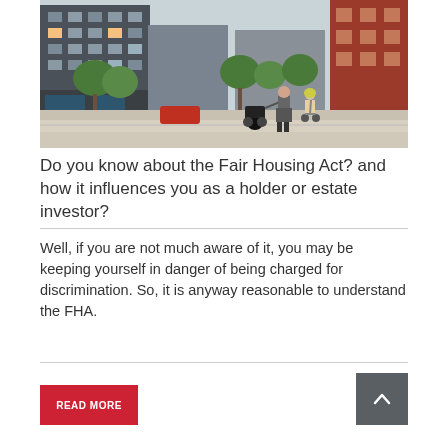[Figure (photo): Street scene with a man pushing a baby stroller and a young child on a scooter, city buildings and trees in background]
Do you know about the Fair Housing Act? and how it influences you as a holder or estate investor?
Well, if you are not much aware of it, you may be keeping yourself in danger of being charged for discrimination. So, it is anyway reasonable to understand the FHA.